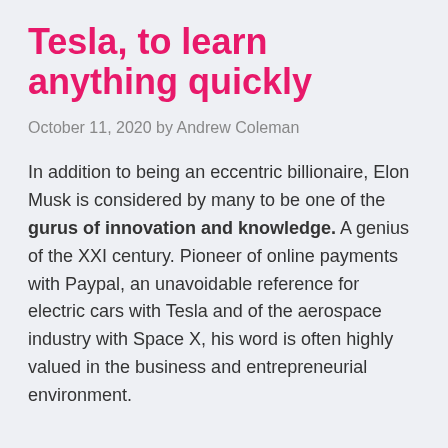Tesla, to learn anything quickly
October 11, 2020 by Andrew Coleman
In addition to being an eccentric billionaire, Elon Musk is considered by many to be one of the gurus of innovation and knowledge. A genius of the XXI century. Pioneer of online payments with Paypal, an unavoidable reference for electric cars with Tesla and of the aerospace industry with Space X, his word is often highly valued in the business and entrepreneurial environment.